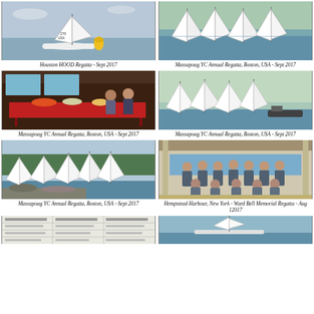[Figure (photo): Sailing regatta - single sailboat with yellow buoy on lake, sail number 270 USA]
Houston HOOD Regatta - Sept 2017
[Figure (photo): Multiple sailboats racing on water - Massapoag YC Annual Regatta]
Massapoag YC Annual Regatta, Boston, USA - Sept 2017
[Figure (photo): Indoor venue with red tables and food spread - Massapoag YC Annual Regatta]
Massapoag YC Annual Regatta, Boston, USA - Sept 2017
[Figure (photo): Multiple Laser sailboats on water with motorboat - Massapoag YC Annual Regatta]
Massapoag YC Annual Regatta, Boston, USA - Sept 2017
[Figure (photo): Cluster of white sailboats near rocky shore - Massapoag YC Annual Regatta]
Massapoag YC Annual Regatta, Boston, USA - Sept 2017
[Figure (photo): Group photo of sailors under covered porch near water - Hempstead Harbour]
Hempstead Harbour, New York - Ward Bell Memorial Regatta - Aug 12017
[Figure (photo): Partial view of document/table at bottom left]
[Figure (photo): Partial view of sailing photo at bottom right]